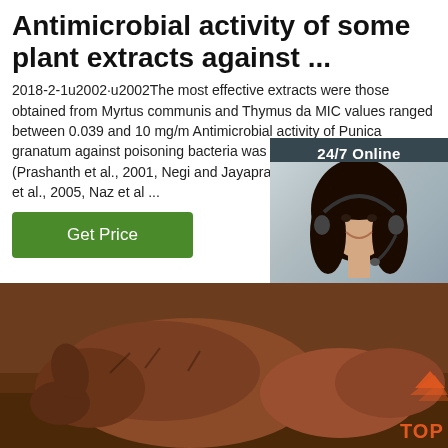Antimicrobial activity of some plant extracts against ...
2018-2-1u2002·u2002The most effective extracts were those obtained from Myrtus communis and Thymus da MIC values ranged between 0.039 and 10 mg/m Antimicrobial activity of Punica granatum against poisoning bacteria was proved by several investi (Prashanth et al., 2001, Negi and Jayaprakasha, Voravuthikunchai et al., 2005, Naz et al ...
[Figure (other): Ad banner: 24/7 Online chat support with photo of woman wearing headset, Click here for free chat!, QUOTATION button in orange]
[Figure (photo): Photo of animals (appears to be boars or similar mammals) on dirt ground, with TOP logo overlay in bottom right]